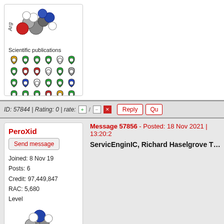[Figure (illustration): Molecular structure illustration (Arg amino acid) with atom spheres in red, white, blue, gray colors]
Scientific publications
[Figure (illustration): Grid of badge icons (colored shield/heart shapes) representing scientific publications - 5 columns, 6 rows]
ID: 57844 | Rating: 0 | rate: [+] / [-][x]
Reply
Qu
PeroXid
Send message
Joined: 8 Nov 19
Posts: 6
Credit: 97,449,847
RAC: 5,680
Level
[Figure (illustration): Molecular structure illustration (Thr amino acid) with atom spheres in blue, red, gray, white colors]
Scientific publications
[Figure (illustration): Two badge icons (white/outline shield shapes) for scientific publications]
Message 57856 - Posted: 18 Nov 2021 | 13:20:2
ServicEnginIC, Richard Haselgrove Thanks!. It
ID: 57856 | Rating: 0 | rate: [+] / [-][x]
Reply
Qu